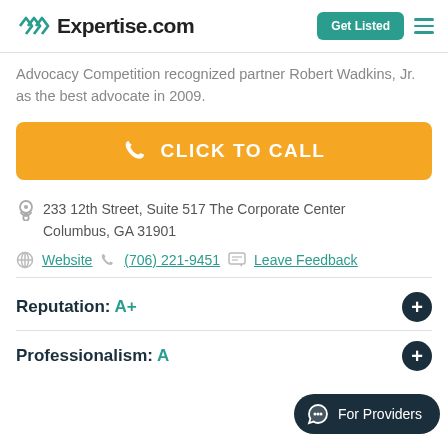Expertise.com
Advocacy Competition recognized partner Robert Wadkins, Jr. as the best advocate in 2009.
CLICK TO CALL
233 12th Street, Suite 517 The Corporate Center Columbus, GA 31901
Website  (706) 221-9451  Leave Feedback
Reputation: A+
Professionalism: A
For Providers